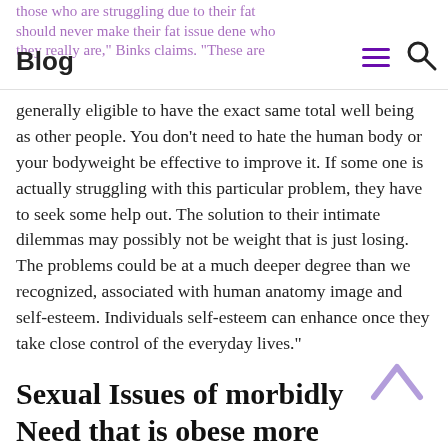those who are struggling due to their fat should never make their fat issue define who they really are," Binks claims. "These are
Blog
generally eligible to have the exact same total well being as other people. You don’t need to hate the human body or your bodyweight be effective to improve it. If some one is actually struggling with this particular problem, they have to seek some help out. The solution to their intimate dilemmas may possibly not be weight that is just losing. The problems could be at a much deeper degree than we recognized, associated with human anatomy image and self-esteem. Individuals self-esteem can enhance once they take close control of the everyday lives.”
Sexual Issues of morbidly Need that is obese more